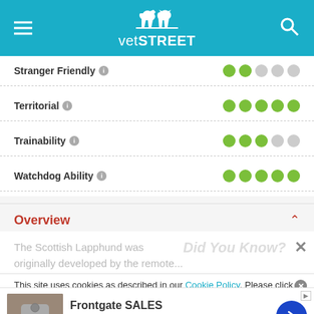[Figure (screenshot): VetSTREET website header with hamburger menu, logo (white dog and cat silhouette with 'vetSTREET' text), and search icon on teal/cyan background]
Stranger Friendly — 2 out of 5 dots filled
Territorial — 5 out of 5 dots filled
Trainability — 3 out of 5 dots filled
Watchdog Ability — 5 out of 5 dots filled
Overview
The Scottish Lapphund was originally developed by the remote...
Did You Know?
This site uses cookies as described in our Cookie Policy. Please click
[Figure (infographic): Frontgate SALES advertisement: 20% off sitewide plus free shipping from August 19-22, frontgate.com, with outdoor furniture image and blue arrow button]